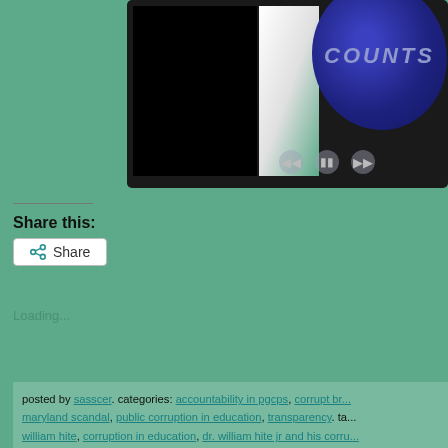[Figure (screenshot): Screenshot of a webpage showing a dark framed video/slideshow player with a navy blue badge or button displaying 'COUNTS' in bold italic letters, with media controls (back, pause, forward) visible at the bottom of the player. The background is a teal/green color.]
Share this:
[Figure (other): Share button with share icon]
Loading...
posted by sasscer. categories: accountability in pgcps, corrupt br... maryland scandal, public corruption in education, transparency. ta... william hite, corruption in education, dr. william hite jr and his corru... pg voters react, top priorities, vote 2012...